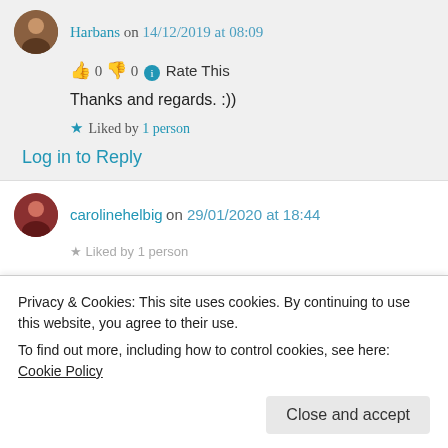Harbans on 14/12/2019 at 08:09
👍 0 👎 0 ℹ Rate This
Thanks and regards. :))
★ Liked by 1 person
Log in to Reply
carolinehelbig on 29/01/2020 at 18:44
Privacy & Cookies: This site uses cookies. By continuing to use this website, you agree to their use.
To find out more, including how to control cookies, see here: Cookie Policy
Close and accept
★ Liked by 1 person